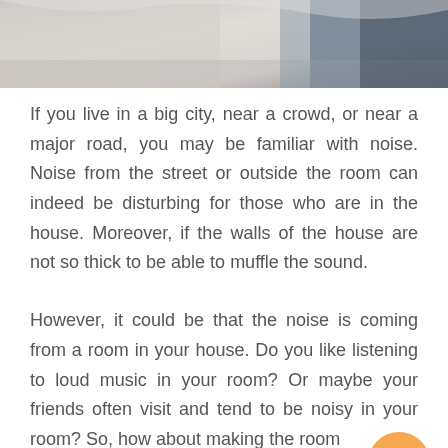[Figure (photo): Partial photo strip at the top of the page showing blurred white and dark fabric/material in grayscale tones]
If you live in a big city, near a crowd, or near a major road, you may be familiar with noise. Noise from the street or outside the room can indeed be disturbing for those who are in the house. Moreover, if the walls of the house are not so thick to be able to muffle the sound.
However, it could be that the noise is coming from a room in your house. Do you like listening to loud music in your room? Or maybe your friends often visit and tend to be noisy in your room? So, how about making the room soundproof?